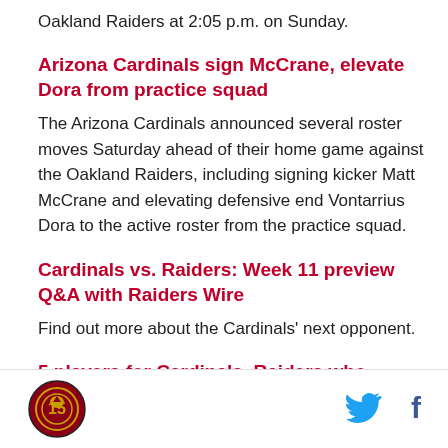Oakland Raiders at 2:05 p.m. on Sunday.
Arizona Cardinals sign McCrane, elevate Dora from practice squad
The Arizona Cardinals announced several roster moves Saturday ahead of their home game against the Oakland Raiders, including signing kicker Matt McCrane and elevating defensive end Vontarrius Dora to the active roster from the practice squad.
Cardinals vs. Raiders: Week 11 preview Q&A with Raiders Wire
Find out more about the Cardinals' next opponent.
5 players for Cardinals, Raiders who played for
[Figure (logo): Arizona Cardinals circular logo with red background]
[Figure (other): Twitter bird icon in blue]
[Figure (other): Facebook f icon in dark blue]